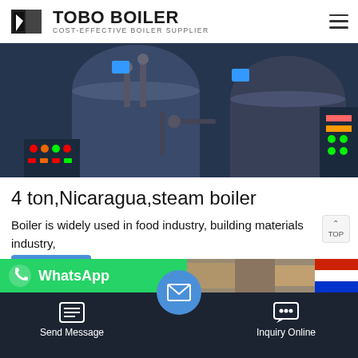TOBO BOILER — COST-EFFECTIVE BOILER SUPPLIER
[Figure (photo): Industrial steam boiler equipment in a factory setting, showing large cylindrical boiler tanks, control panels with colored indicators, and connecting pipes and valves.]
4 ton,Nicaragua,steam boiler
Boiler is widely used in food industry, building materials industry, chemical industry, etc.welcome you come visit our boiler modle :WNS4-1.25-Y the boiler pressure:13bar 1.25mpa,the boiler capacity:4 ton /h steam,the boiler fuel :diesel ...
[Figure (screenshot): WhatsApp contact strip at bottom left and industrial equipment image at bottom right, with Send Message and Inquiry Online action buttons in dark navigation bar.]